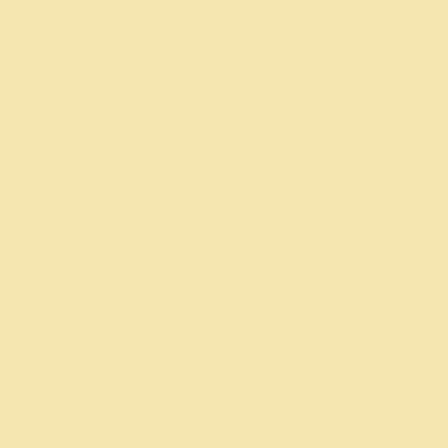be discussing w...
Its time to start t... meeting Thursday... businesses, chu... event are invited... need representa... or sponsor even... than last year!
Saturday, July 16... Coudersport, Ge... Re-enactment In... the Millport Fairg... & Auction Fund l... 2:30. $10.00 dona...